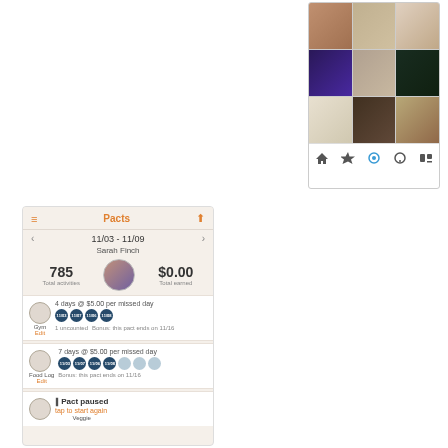[Figure (screenshot): Instagram app screenshot showing a 3x3 photo grid with food, selfie, and outdoor photos, plus a navigation bar at the bottom with home, explore, camera, comments, and profile icons.]
[Figure (screenshot): Pacts fitness app screenshot showing user Sarah Finch's weekly activity summary for 11/03 - 11/09. Shows 785 total activities, $0.00 total earned. Gym pact: 4 days @ $5.00 per missed day, 4 filled dots, 1 uncounted, bonus. Food Log pact: 7 days @ $5.00 per missed day, 4 filled dots and 3 empty dots, bonus. Bottom section shows a paused Veggie pact with 'tap to start again' text.]